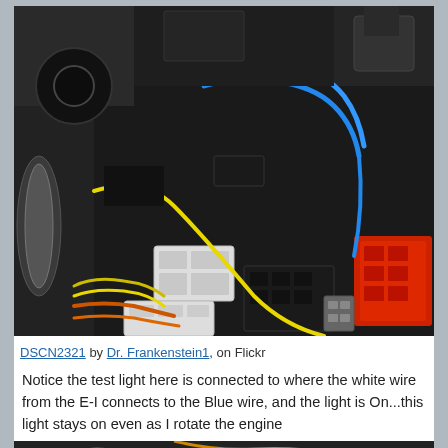[Figure (photo): Close-up photo of motorcycle/vehicle wiring harness showing multiple colored wires (blue, yellow, orange, green/yellow) connected to white and black plastic electrical connectors and a red fuse/relay box.]
DSCN2321 by Dr. Frankenstein1, on Flickr
Notice the test light here is connected to where the white wire from the E-I connects to the Blue wire, and the light is On...this light stays on even as I rotate the engine
[Figure (photo): Partial photo of motorcycle engine wiring area showing various colored wires and connectors, cropped at bottom of page.]